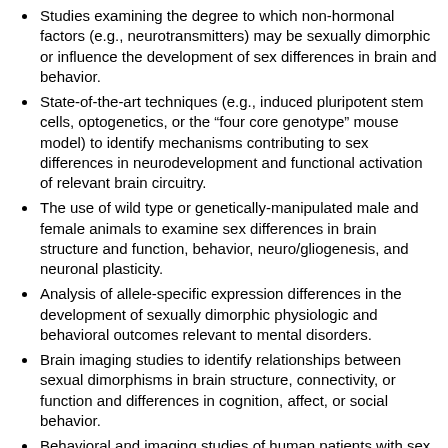Studies examining the degree to which non-hormonal factors (e.g., neurotransmitters) may be sexually dimorphic or influence the development of sex differences in brain and behavior.
State-of-the-art techniques (e.g., induced pluripotent stem cells, optogenetics, or the “four core genotype” mouse model) to identify mechanisms contributing to sex differences in neurodevelopment and functional activation of relevant brain circuitry.
The use of wild type or genetically-manipulated male and female animals to examine sex differences in brain structure and function, behavior, neuro/gliogenesis, and neuronal plasticity.
Analysis of allele-specific expression differences in the development of sexually dimorphic physiologic and behavioral outcomes relevant to mental disorders.
Brain imaging studies to identify relationships between sexual dimorphisms in brain structure, connectivity, or function and differences in cognition, affect, or social behavior.
Behavioral and imaging studies of human patients with sex chromosomal aneuploidies.
Studies using human post-mortem tissue to examine sex differences in gene transcription and expression in normative and pathological development.